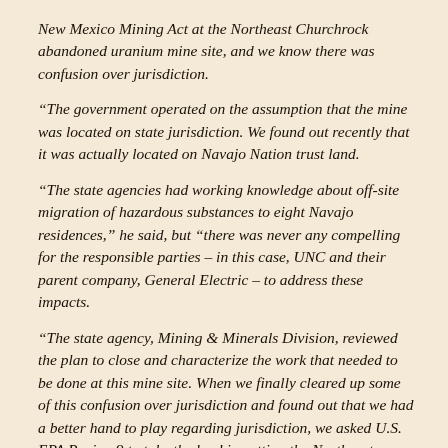New Mexico Mining Act at the Northeast Churchrock abandoned uranium mine site, and we know there was confusion over jurisdiction.
“The government operated on the assumption that the mine was located on state jurisdiction. We found out recently that it was actually located on Navajo Nation trust land.
“The state agencies had working knowledge about off-site migration of hazardous substances to eight Navajo residences,” he said, but “there was never any compelling for the responsible parties – in this case, UNC and their parent company, General Electric – to address these impacts.
“The state agency, Mining & Minerals Division, reviewed the plan to close and characterize the work that needed to be done at this mine site. When we finally cleared up some of this confusion over jurisdiction and found out that we had a better hand to play regarding jurisdiction, we asked U.S. EPA Region 9 to take the lead in getting the Northeast Churchrock site cleaned up. We’ve worked alongside them since 2006,” Etsitty said.
Bill Brancard, division director for New Mexico Mining &